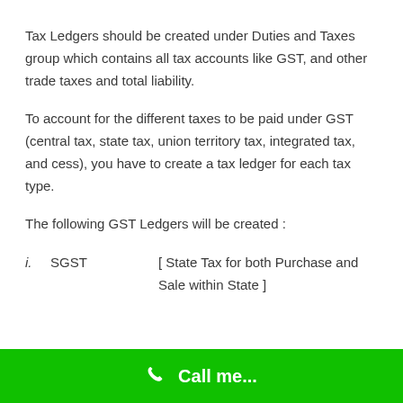Tax Ledgers should be created under Duties and Taxes group which contains all tax accounts like GST, and other trade taxes and total liability.
To account for the different taxes to be paid under GST (central tax, state tax, union territory tax, integrated tax, and cess), you have to create a tax ledger for each tax type.
The following GST Ledgers will be created :
i.    SGST    [ State Tax for both Purchase and Sale within State ]
Call me...